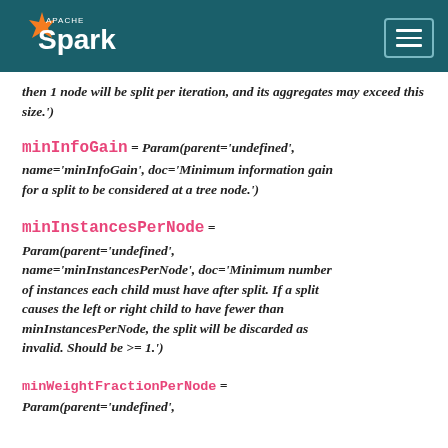Apache Spark
then 1 node will be split per iteration, and its aggregates may exceed this size.')
minInfoGain = Param(parent='undefined', name='minInfoGain', doc='Minimum information gain for a split to be considered at a tree node.')
minInstancesPerNode = Param(parent='undefined', name='minInstancesPerNode', doc='Minimum number of instances each child must have after split. If a split causes the left or right child to have fewer than minInstancesPerNode, the split will be discarded as invalid. Should be >= 1.')
minWeightFractionPerNode = Param(parent='undefined',